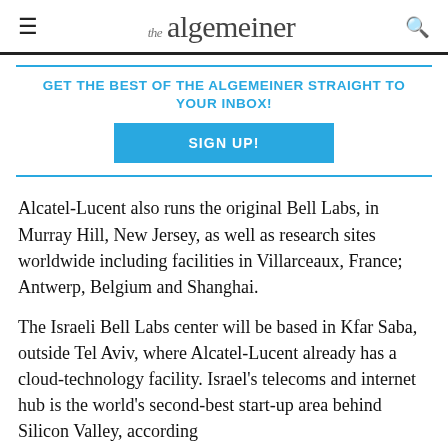the algemeiner
GET THE BEST OF THE ALGEMEINER STRAIGHT TO YOUR INBOX!
SIGN UP!
Alcatel-Lucent also runs the original Bell Labs, in Murray Hill, New Jersey, as well as research sites worldwide including facilities in Villarceaux, France; Antwerp, Belgium and Shanghai.
The Israeli Bell Labs center will be based in Kfar Saba, outside Tel Aviv, where Alcatel-Lucent already has a cloud-technology facility. Israel's telecoms and internet hub is the world's second-best start-up area behind Silicon Valley, according